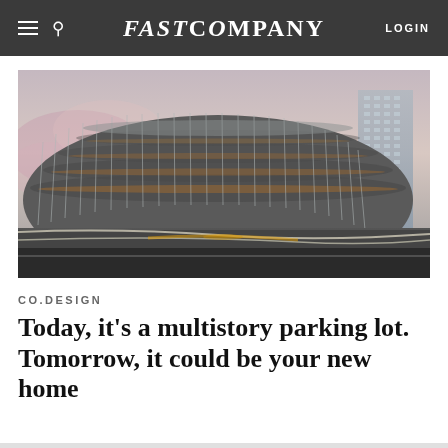FAST COMPANY  LOGIN
[Figure (photo): Exterior photograph of a modern multistory circular parking structure with vertical aluminum fins/louvers, taken at dusk or dawn with motion-blurred vehicle light trails in the foreground and a tall residential tower visible to the right.]
CO.DESIGN
Today, it's a multistory parking lot. Tomorrow, it could be your new home